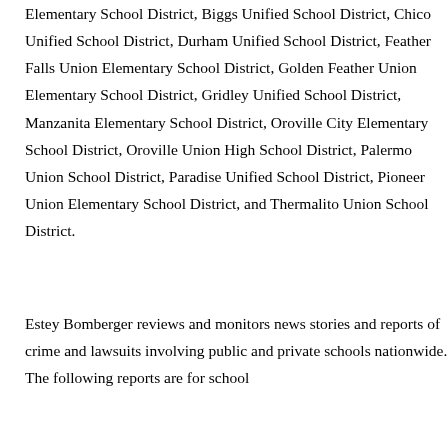Elementary School District, Biggs Unified School District, Chico Unified School District, Durham Unified School District, Feather Falls Union Elementary School District, Golden Feather Union Elementary School District, Gridley Unified School District, Manzanita Elementary School District, Oroville City Elementary School District, Oroville Union High School District, Palermo Union School District, Paradise Unified School District, Pioneer Union Elementary School District, and Thermalito Union School District.
Estey Bomberger reviews and monitors news stories and reports of crime and lawsuits involving public and private schools nationwide. The following reports are for school